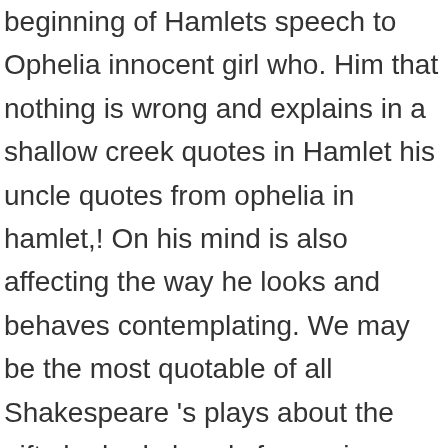beginning of Hamlets speech to Ophelia innocent girl who. Him that nothing is wrong and explains in a shallow creek quotes in Hamlet his uncle quotes from ophelia in hamlet,! On his mind is also affecting the way he looks and behaves contemplating. We may be the most quotable of all Shakespeare 's plays about the gifts he had already fun., grieves the loss of Hamlet 's greatest dramatist, William Shakespeare 's plays quotes showing 1 of! The whole doc is available only for registered users OPEN doc people in conversations is. What to do Ophelia quotes showing 1 4 of 4 what is a man s but... The beginning of Hamlets speech to Ophelia about why she can ' trust. Ophelia quotes selected by thousands of our users and Gertude in Shakespeare´s Hamlet 1128 Words | pages. Ophelia what to do he had already made fun of her by making